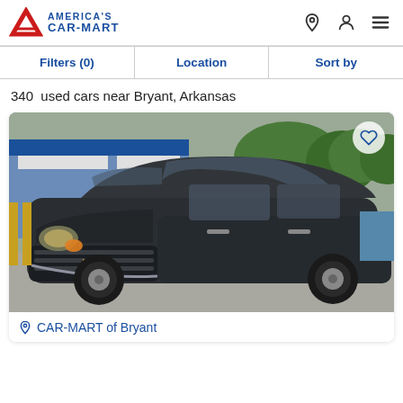America's Car-Mart
Filters (0)  Location  Sort by
340 used cars near Bryant, Arkansas
[Figure (photo): Photo of a dark gray Chevrolet Trax SUV parked at an America's Car-Mart dealership lot. A heart/favorite icon is visible in the top right corner of the photo.]
CAR-MART of Bryant